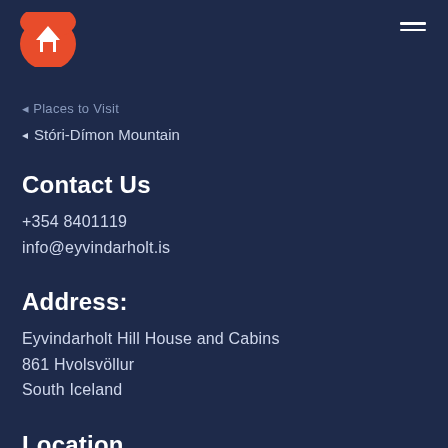[Figure (logo): Orange/red house logo icon, half-circle shape at top left]
Places to Visit (partially visible)
Stóri-Dímon Mountain
Contact Us
+354 8401119
info@eyvindarholt.is
Address:
Eyvindarholt Hill House and Cabins
861 Hvolsvöllur
South Iceland
Location
See your location on google maps